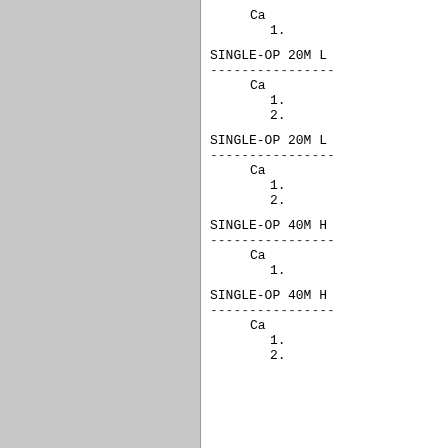Ca
1.
SINGLE-OP 20M L
----------------
Ca
1.
2.
SINGLE-OP 20M L
----------------
Ca
1.
2.
SINGLE-OP 40M H
----------------
Ca
1.
SINGLE-OP 40M H
----------------
Ca
1.
2.